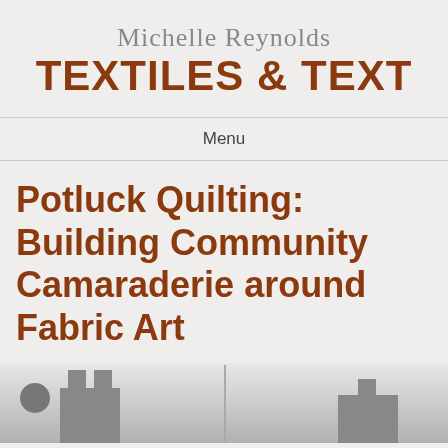Michelle Reynolds TEXTILES & TEXT
Menu
Potluck Quilting: Building Community Camaraderie around Fabric Art
[Figure (photo): Black and white photograph of stone buildings with chimneys, partially cropped at the bottom of the page]